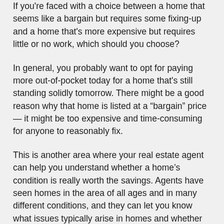If you're faced with a choice between a home that seems like a bargain but requires some fixing-up and a home that's more expensive but requires little or no work, which should you choose?
In general, you probably want to opt for paying more out-of-pocket today for a home that's still standing solidly tomorrow. There might be a good reason why that home is listed at a “bargain” price — it might be too expensive and time-consuming for anyone to reasonably fix.
This is another area where your real estate agent can help you understand whether a home's condition is really worth the savings. Agents have seen homes in the area of all ages and in many different conditions, and they can let you know what issues typically arise in homes and whether the place you're considering might be at risk for exhibiting one or more of those issues.
When you know how to choose the perfect property,